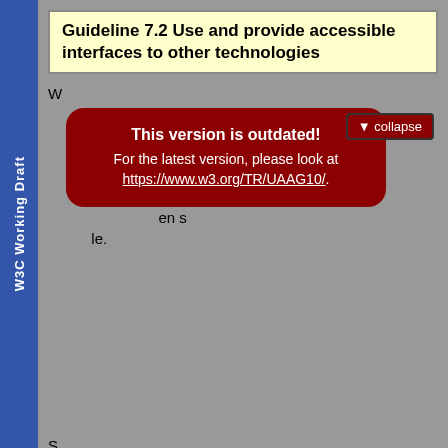W3C Working Draft
Guideline 7.2 Use and provide accessible interfaces to other technologies
[Figure (infographic): Red rounded-rectangle overlay with 'This version is outdated!' warning and link to https://www.w3.org/TR/UAAG10/. A collapse button is visible in the top right of the overlay area.]
When implementing support for a platform's accessibility architecture, support the accessibility interfaces provided by operating system and/or environment. Specifically, implement all applicable interfaces, and do so in conformance with the platform's open en standards specifications whenever possible.
Support system-level flags and settings that are pertinent to accessibility, such as high-contrast colors and "show" sounds for people with hearing impairments. User agents should take these global settings into account for their own settings.
7.2.1 [Priority 1]
For desktop graphical browsers. Export programmatic interfaces to ATs and follow operating system conventions to do so (e.g., Microsoft Active Accessibility, Sun Microsystems Java Accessibility).